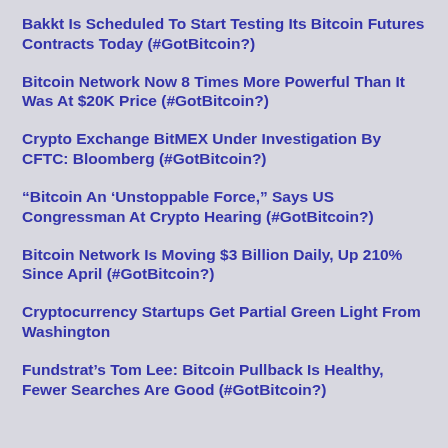Bakkt Is Scheduled To Start Testing Its Bitcoin Futures Contracts Today (#GotBitcoin?)
Bitcoin Network Now 8 Times More Powerful Than It Was At $20K Price (#GotBitcoin?)
Crypto Exchange BitMEX Under Investigation By CFTC: Bloomberg (#GotBitcoin?)
“Bitcoin An ‘Unstoppable Force,” Says US Congressman At Crypto Hearing (#GotBitcoin?)
Bitcoin Network Is Moving $3 Billion Daily, Up 210% Since April (#GotBitcoin?)
Cryptocurrency Startups Get Partial Green Light From Washington
Fundstrat’s Tom Lee: Bitcoin Pullback Is Healthy, Fewer Searches Are Good (#GotBitcoin?)